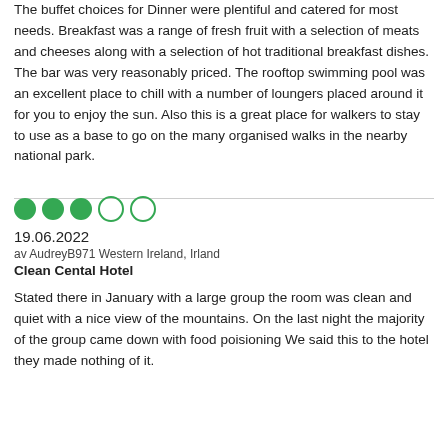The buffet choices for Dinner were plentiful and catered for most needs. Breakfast was a range of fresh fruit with a selection of meats and cheeses along with a selection of hot traditional breakfast dishes. The bar was very reasonably priced. The rooftop swimming pool was an excellent place to chill with a number of loungers placed around it for you to enjoy the sun. Also this is a great place for walkers to stay to use as a base to go on the many organised walks in the nearby national park.
[Figure (other): Five circles rating indicator: 3 filled green circles and 2 empty green circles]
19.06.2022
av AudreyB971 Western Ireland, Irland
Clean Cental Hotel
Stated there in January with a large group the room was clean and quiet with a nice view of the mountains. On the last night the majority of the group came down with food poisioning We said this to the hotel they made nothing of it.